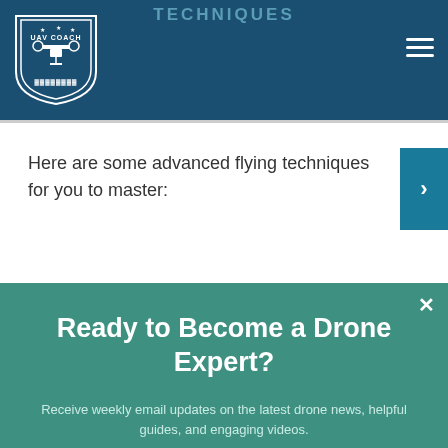TECHNIQUES
[Figure (logo): UAV Coach logo - shield shape with drone icon, white on dark blue background]
Here are some advanced flying techniques for you to master:
Ready to Become a Drone Expert?
Receive weekly email updates on the latest drone news, helpful guides, and engaging videos.
ENTER YOUR EMAIL
Join Community of 75,000+ Pilots
NO THANKS